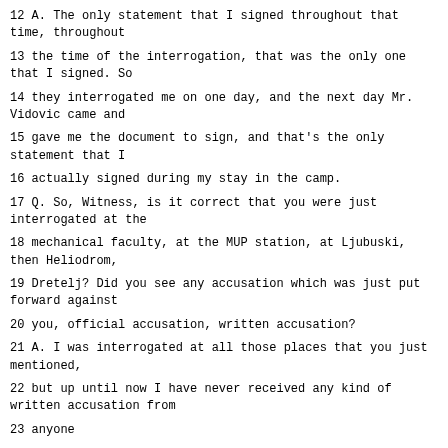12 A. The only statement that I signed throughout that time, throughout
13 the time of the interrogation, that was the only one that I signed. So
14 they interrogated me on one day, and the next day Mr. Vidovic came and
15 gave me the document to sign, and that's the only statement that I
16 actually signed during my stay in the camp.
17 Q. So, Witness, is it correct that you were just interrogated at the
18 mechanical faculty, at the MUP station, at Ljubuski, then Heliodrom,
19 Dretelj? Did you see any accusation which was just put forward against
20 you, official accusation, written accusation?
21 A. I was interrogated at all those places that you just mentioned,
22 but up until now I have never received any kind of written accusation from
23 anyone